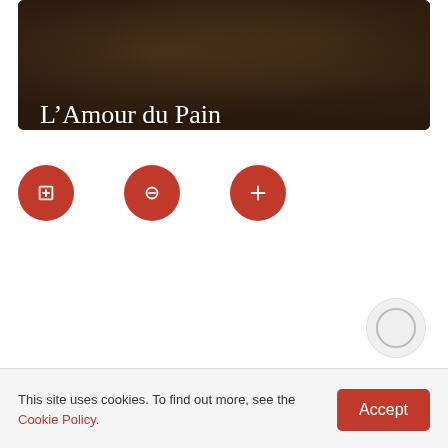[Figure (photo): Dark hero image showing coffee/bakery items with title 'L'Amour du Pain' overlaid in white text]
L'Amour du Pain
[Figure (other): Three red circular icon buttons in a row]
This site uses cookies. To find out more, see the Cookie Policy.